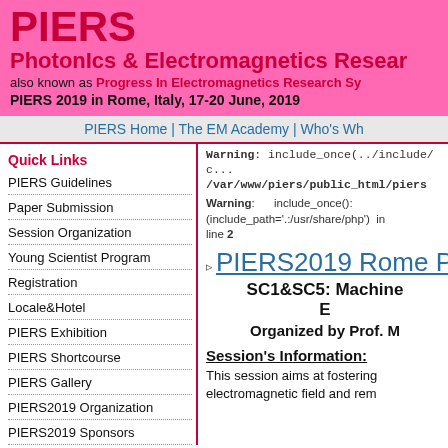PIERS
PhotonIcs & Electromagnetics Research ...
also known as Progress In Electromagnetics Research Sy...
PIERS 2019 in Rome, Italy, 17-20 June, 2019
PIERS Home | The EM Academy | Who's Wh...
Quick Links
PIERS Guidelines
Paper Submission
Session Organization
Young Scientist Program
Registration
Locale&Hotel
PIERS Exhibition
PIERS Shortcourse
PIERS Gallery
PIERS2019 Organization
PIERS2019 Sponsors
Warning: include_once(../include/c... /var/www/piers/public_html/piers...
Warning: include_once(): (include_path='.:/usr/share/php') in ... line 2
PIERS2019 Rome P...
SC1&SC5: Machine E...
Organized by Prof. M...
Session's Information:
This session aims at fostering ... electromagnetic field and rem...